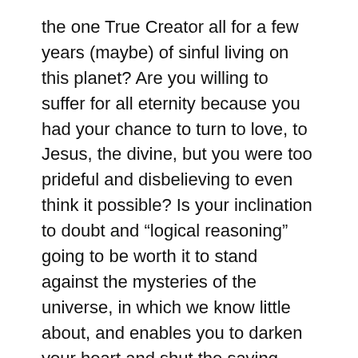the one True Creator all for a few years (maybe) of sinful living on this planet? Are you willing to suffer for all eternity because you had your chance to turn to love, to Jesus, the divine, but you were too prideful and disbelieving to even think it possible? Is your inclination to doubt and “logical reasoning” going to be worth it to stand against the mysteries of the universe, in which we know little about, and enables you to darken your heart and shut the saving grace out?
Are you willing to take that chance? When it becomes too late, and you’re on your deathbed, regretting that you let God/Jesus Christ the Savior pass you by… Seeing hell loom around you and knowing that He was calling out to you, and you